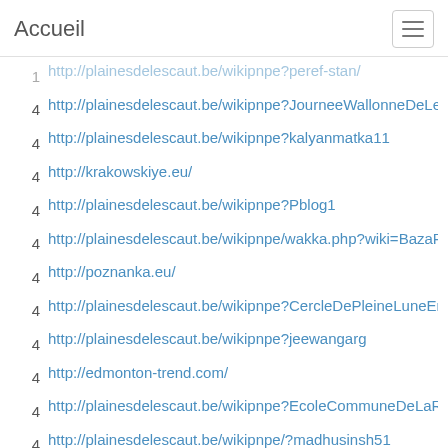Accueil
4 http://plainesdelescaut.be/wikipnpe?JourneeWallonneDeLea
4 http://plainesdelescaut.be/wikipnpe?kalyanmatka11
4 http://krakowskiye.eu/
4 http://plainesdelescaut.be/wikipnpe?Pblog1
4 http://plainesdelescaut.be/wikipnpe/wakka.php?wiki=BazaR&
4 http://poznanka.eu/
4 http://plainesdelescaut.be/wikipnpe?CercleDePleineLuneEnP
4 http://plainesdelescaut.be/wikipnpe?jeewangarg
4 http://edmonton-trend.com/
4 http://plainesdelescaut.be/wikipnpe?EcoleCommuneDeLaRoe
4 http://plainesdelescaut.be/wikipnpe/?madhusinsh51
4 http://poznan1.one/
4 http://plainesdelescaut.be/wikipnpe?FormationPlantesSauva
4 http://wroclaw-future.eu/
4 http://krakow-name.eu/
4 http://plainesdelescaut.be/wikipnpe/?KimberR7MakoForSale1
3 http://plainesdelescaut.be/wikipnpe?SemaineTransfrontalier
3 http://plainesdelescaut.be/wikipnpe?MarcheFermierALaFerm
3 http://plainesdelescaut.be/wikipnpe?BaladeAnimeeEnForetLa
3 http://plainesdelescaut.be/wikipnpe/?sanjapakaur